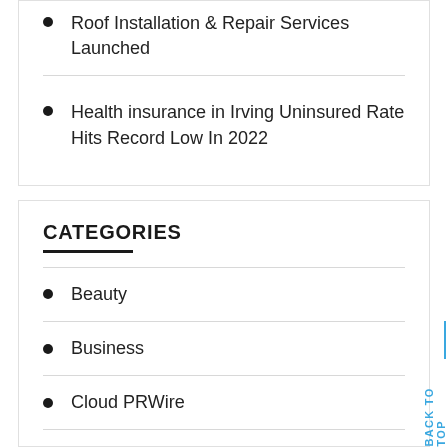Roof Installation & Repair Services Launched
Health insurance in Irving Uninsured Rate Hits Record Low In 2022
CATEGORIES
Beauty
Business
Cloud PRWire